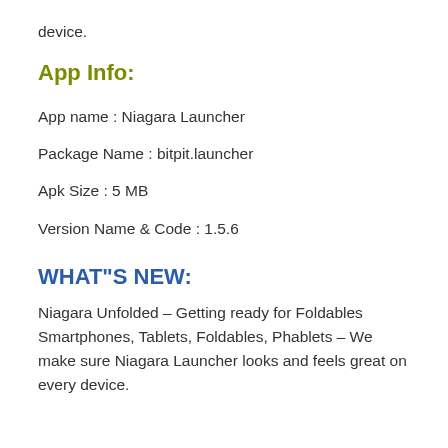device.
App Info:
App name : Niagara Launcher
Package Name : bitpit.launcher
Apk Size : 5 MB
Version Name & Code : 1.5.6
WHAT"S NEW:
Niagara Unfolded – Getting ready for Foldables Smartphones, Tablets, Foldables, Phablets – We make sure Niagara Launcher looks and feels great on every device.